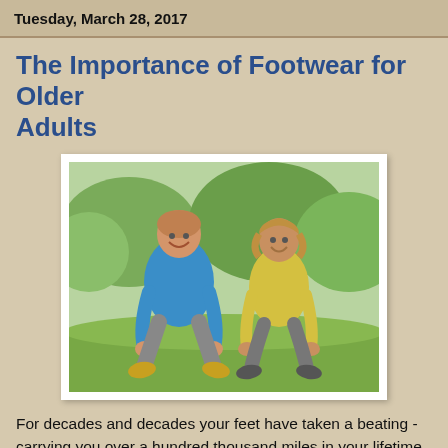Tuesday, March 28, 2017
The Importance of Footwear for Older Adults
[Figure (photo): An older couple sitting on the ground outdoors, smiling and reaching forward to touch their sneakers/feet, wearing athletic clothing. A man in a blue shirt and a woman in a yellow top, both appear fit and active, with trees/greenery in the background.]
For decades and decades your feet have taken a beating - carrying you over a hundred thousand miles in your lifetime, literally! As we age, a few things can happen that affect foot health including losing feeling in the feet, developing an illness that affects blood circulation to the feet (like diabetes), or incurring an injury or ailment the requires